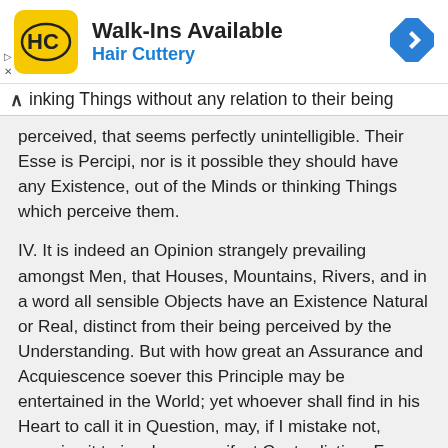[Figure (other): Hair Cuttery advertisement banner with logo, 'Walk-Ins Available' title, and navigation arrow icon]
inking Things without any relation to their being perceived, that seems perfectly unintelligible. Their Esse is Percipi, nor is it possible they should have any Existence, out of the Minds or thinking Things which perceive them.
IV. It is indeed an Opinion strangely prevailing amongst Men, that Houses, Mountains, Rivers, and in a word all sensible Objects have an Existence Natural or Real, distinct from their being perceived by the Understanding. But with how great an Assurance and Acquiescence soever this Principle may be entertained in the World; yet whoever shall find in his Heart to call it in Question, may, if I mistake not, perceive it to involve a manifest Contradiction. For what are the forementioned Objects but the things we perceive by Sense, and what do we